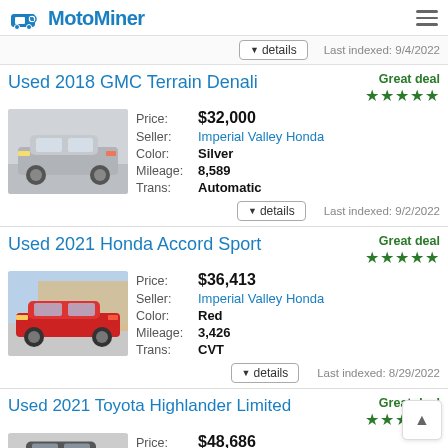MotoMiner
▼ details   Last indexed: 9/4/2022
Used 2018 GMC Terrain Denali
Great deal ★★★★★
| Label | Value |
| --- | --- |
| Price: | $32,000 |
| Seller: | Imperial Valley Honda |
| Color: | Silver |
| Mileage: | 8,589 |
| Trans: | Automatic |
▼ details   Last indexed: 9/2/2022
Used 2021 Honda Accord Sport
Great deal ★★★★★
| Label | Value |
| --- | --- |
| Price: | $36,413 |
| Seller: | Imperial Valley Honda |
| Color: | Red |
| Mileage: | 3,426 |
| Trans: | CVT |
▼ details   Last indexed: 8/29/2022
Used 2021 Toyota Highlander Limited
Great deal ★★★☆☆
| Label | Value |
| --- | --- |
| Price: | $48,686 |
| Seller: | Imperial Valley Honda |